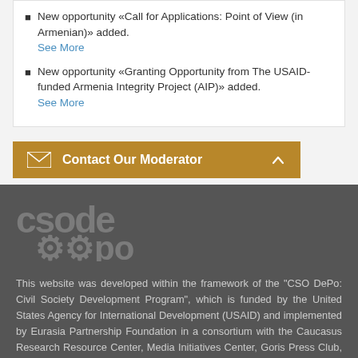New opportunity «Call for Applications: Point of View (in Armenian)» added.
See More
New opportunity «Granting Opportunity from The USAID-funded Armenia Integrity Project (AIP)» added.
See More
[Figure (infographic): Contact Our Moderator button/bar with envelope icon and chevron, golden/tan background]
[Figure (logo): CSO DePo logo in dark gray text on dark background]
This website was developed within the framework of the "CSO DePo: Civil Society Development Program", which is funded by the United States Agency for International Development (USAID) and implemented by Eurasia Partnership Foundation in a consortium with the Caucasus Research Resource Center, Media Initiatives Center, Goris Press Club, Support to Noyemberyan and Martuni Women Community Council. The contents of this website are the sole responsibility of the authors and do not necessarily reflect the views of USAID or the United States